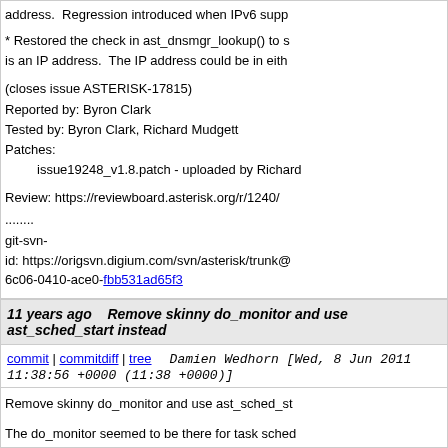address.  Regression introduced when IPv6 supp
* Restored the check in ast_dnsmgr_lookup() to s is an IP address.  The IP address could be in eith
(closes issue ASTERISK-17815)
Reported by: Byron Clark
Tested by: Byron Clark, Richard Mudgett
Patches:
    issue19248_v1.8.patch - uploaded by Richard
Review: https://reviewboard.asterisk.org/r/1240/
........
git-svn-
id: https://origsvn.digium.com/svn/asterisk/trunk@
6c06-0410-ace0-fbb531ad65f3
11 years ago   Remove skinny do_monitor and use ast_sched_start instead
commit | commitdiff | tree   Damien Wedhorn [Wed, 8 Jun 2011 11:38:56 +0000 (11:38 +0000)]
Remove skinny do_monitor and use ast_sched_st
The do_monitor seemed to be there for task sched
Review: https://reviewboard.asterisk.org/r/1256/